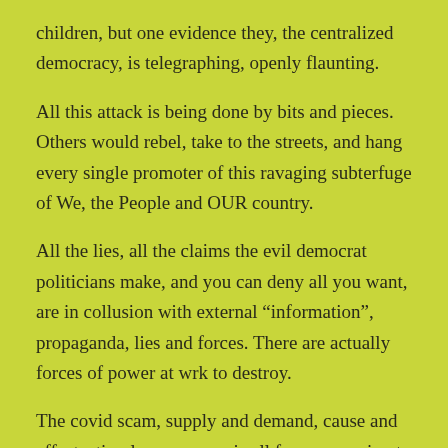children, but one evidence they, the centralized democracy, is telegraphing, openly flaunting.
All this attack is being done by bits and pieces. Others would rebel, take to the streets, and hang every single promoter of this ravaging subterfuge of We, the People and OUR country.
All the lies, all the claims the evil democrat politicians make, and you can deny all you want, are in collusion with external “information”, propaganda, lies and forces. There are actually forces of power at wrk to destroy.
The covid scam, supply and demand, cause and effect, stimulus response, is all fear mongering to manipulate